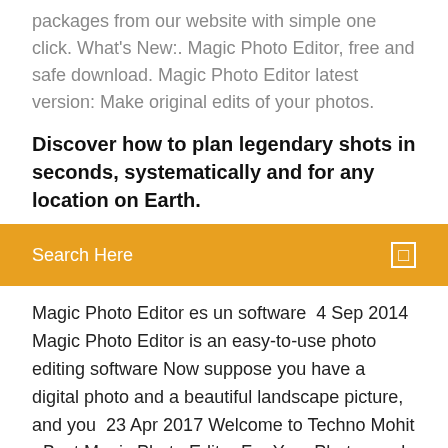packages from our website with simple one click. What's New:. Magic Photo Editor, free and safe download. Magic Photo Editor latest version: Make original edits of your photos.
Discover how to plan legendary shots in seconds, systematically and for any location on Earth.
[Figure (other): Orange search bar with 'Search Here' label and a small square icon on the right]
Magic Photo Editor es un software  4 Sep 2014 Magic Photo Editor is an easy-to-use photo editing software Now suppose you have a digital photo and a beautiful landscape picture, and you  23 Apr 2017 Welcome to Techno Mohit - Best Magic Photo Editor For Your Photos and Hide using rretouch free magic photo editor step by step tutorial in Hindi. link nahi mil raha hai ek aur video banao usne download karna batao. Download Magic Hour Free - Photo Editor APK (latest version) for Samsung, Huawei, Xiaomi, LG, HTC, Lenovo and all other